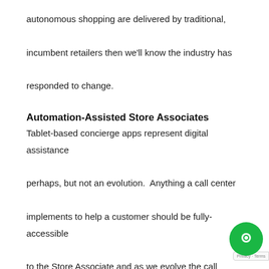autonomous shopping are delivered by traditional, incumbent retailers then we'll know the industry has responded to change.
Automation-Assisted Store Associates
Tablet-based concierge apps represent digital assistance perhaps, but not an evolution.  Anything a call center implements to help a customer should be fully-accessible to the Store Associate and as we evolve the call center it is becoming automated.  The significant evolution isn't to deliver via concierge tools information a Store Associate must navigate, but to deliver Robotic Assistance that navigate on behalf of the Associate.  Depending upon